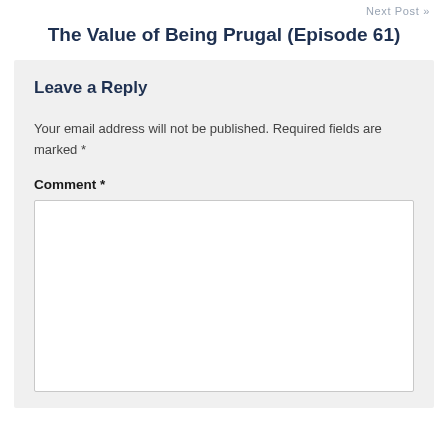Next Post »
The Value of Being Prugal (Episode 61)
Leave a Reply
Your email address will not be published. Required fields are marked *
Comment *